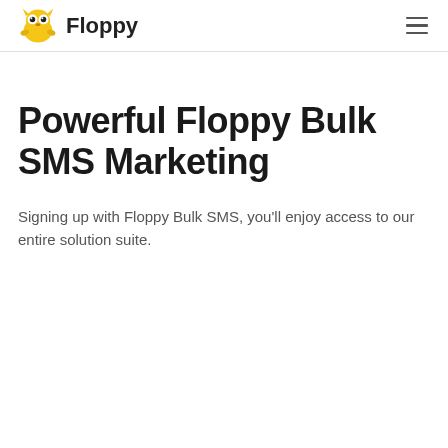Floppy
Powerful Floppy Bulk SMS Marketing
Signing up with Floppy Bulk SMS, you'll enjoy access to our entire solution suite.